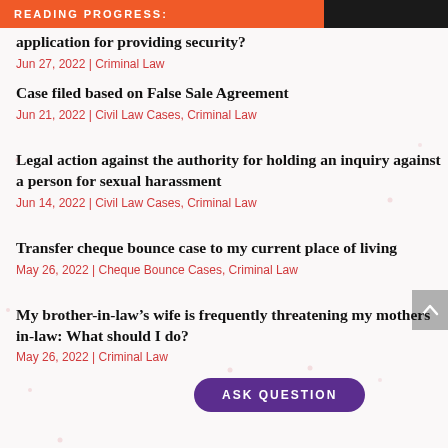READING PROGRESS:
application for providing security?
Jun 27, 2022 | Criminal Law
Case filed based on False Sale Agreement
Jun 21, 2022 | Civil Law Cases, Criminal Law
Legal action against the authority for holding an inquiry against a person for sexual harassment
Jun 14, 2022 | Civil Law Cases, Criminal Law
Transfer cheque bounce case to my current place of living
May 26, 2022 | Cheque Bounce Cases, Criminal Law
My brother-in-law’s wife is frequently threatening my mothers in-law: What should I do?
May 26, 2022 | Criminal Law